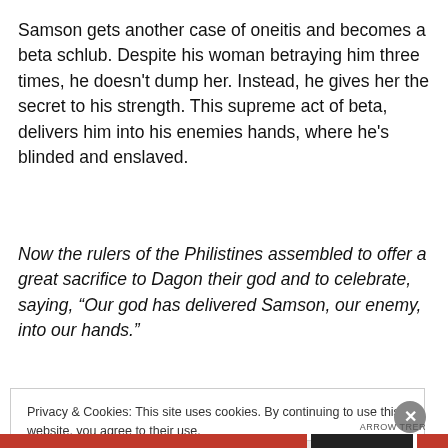Samson gets another case of oneitis and becomes a beta schlub. Despite his woman betraying him three times, he doesn't dump her. Instead, he gives her the secret to his strength. This supreme act of beta, delivers him into his enemies hands, where he's blinded and enslaved.
Now the rulers of the Philistines assembled to offer a great sacrifice to Dagon their god and to celebrate, saying, “Our god has delivered Samson, our enemy, into our hands.”
Privacy & Cookies: This site uses cookies. By continuing to use this website, you agree to their use.
To find out more, including how to control cookies, see here: Cookie Policy